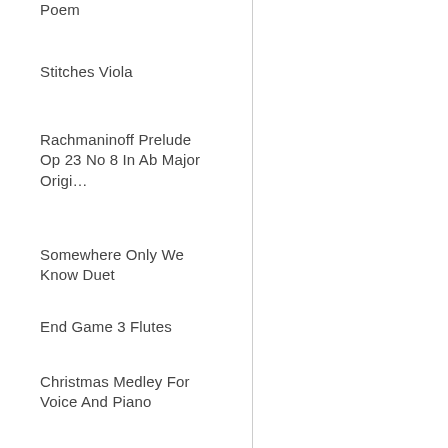Poem
Stitches Viola
Rachmaninoff Prelude Op 23 No 8 In Ab Major Origi…
Somewhere Only We Know Duet
End Game 3 Flutes
Christmas Medley For Voice And Piano
Viva La Vida For Two Cellos
De Curtis Canta Pe Me In G Sharp Minor